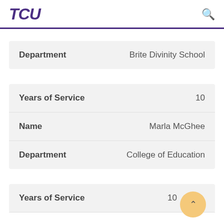TCU
| Field | Value |
| --- | --- |
| Department | Brite Divinity School |
| Field | Value |
| --- | --- |
| Years of Service | 10 |
| Name | Marla McGhee |
| Department | College of Education |
| Field | Value |
| --- | --- |
| Years of Service | 10 |